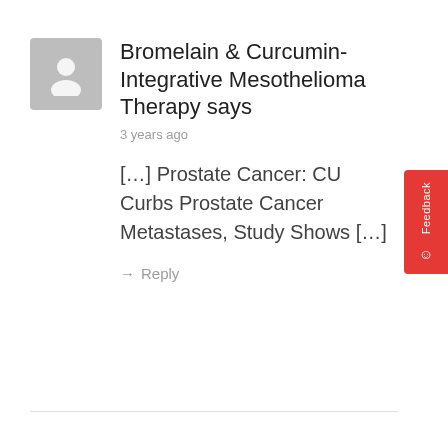[Figure (illustration): Generic user avatar: grey rounded square with a white silhouette person icon]
Bromelain & Curcumin-Integrative Mesothelioma Therapy says
3 years ago
[…] Prostate Cancer: CU Curbs Prostate Cancer Metastases, Study Shows […]
→ Reply